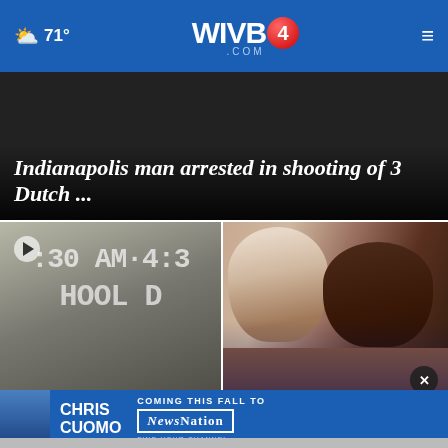71° WIVB4.COM ☰
Indianapolis man arrested in shooting of 3 Dutch ...
[Figure (photo): Bus stop sign showing school district schedule hours (8:30 AM - 4:3...) with play button icon overlay]
AAA and local law enforcement prepare parents & drivers ...
[Figure (photo): Two women smiling at the camera for UB Distinguished Speaker Series announcement]
UB announces Distinguished Speaker Series lineup
[Figure (screenshot): Chris Cuomo advertisement banner - Coming This Fall to NewsNation - Find Your Channel]